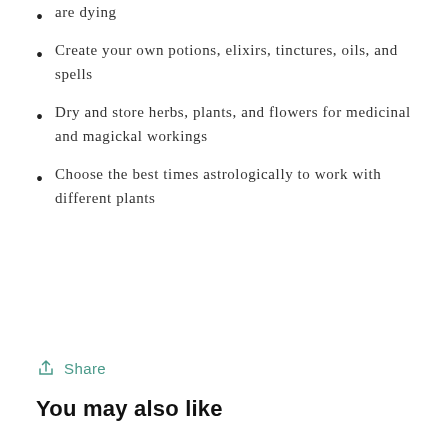are dying
Create your own potions, elixirs, tinctures, oils, and spells
Dry and store herbs, plants, and flowers for medicinal and magickal workings
Choose the best times astrologically to work with different plants
Share
You may also like
[Figure (photo): Book cover of 'Occult Botany' — dark green background with botanical illustrations, subtitle reads 'Sedir's Concise Guide to Magical Plants', held by a person near a window]
[Figure (photo): Book cover of 'The Green Witch' — dark background with green leaf illustrations, subtitle reads 'Your Complete Guide to the Natural Magic of...']